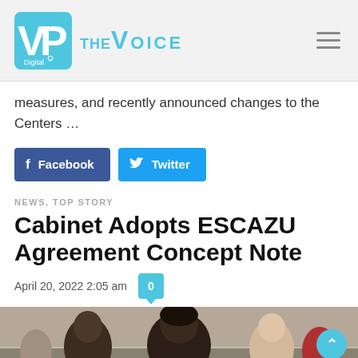VP Digital | THE VOICE
measures, and recently announced changes to the Centers …
Facebook  Twitter
NEWS, TOP STORY
Cabinet Adopts ESCAZU Agreement Concept Note
April 20, 2022 2:05 am
[Figure (photo): People seated at a conference table, including a Black man and a dark-haired woman in the foreground, in a large meeting room]